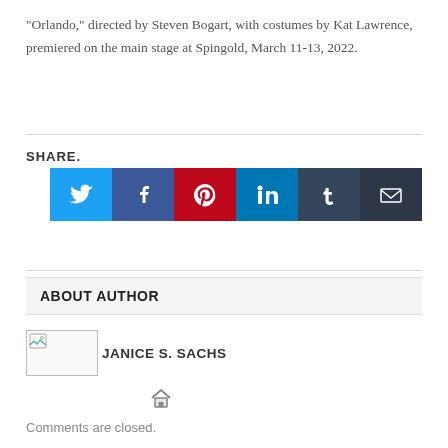“Orlando,” directed by Steven Bogart, with costumes by Kat Lawrence, premiered on the main stage at Spingold, March 11-13, 2022.
SHARE.
[Figure (other): Row of six social media share buttons: Twitter (light blue), Facebook (dark blue), Pinterest (red), LinkedIn (teal), Tumblr (dark slate), Email (near-black). Each shows the respective platform icon in white.]
ABOUT AUTHOR
[Figure (photo): Small placeholder image thumbnail for author photo]
JANICE S. SACHS
[Figure (other): Home icon (house symbol)]
Comments are closed.